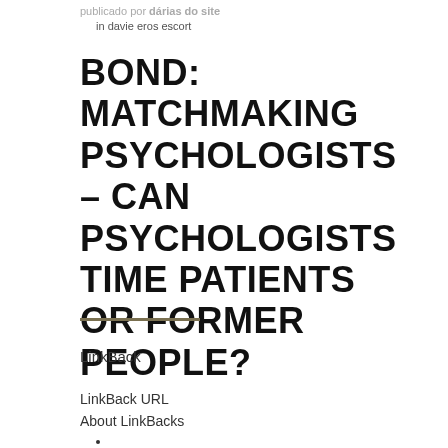publicado por dárias do site
In davie eros escort
BOND: MATCHMAKING PSYCHOLOGISTS – CAN PSYCHOLOGISTS TIME PATIENTS OR FORMER PEOPLE?
LinkBack
LinkBack URL
About LinkBacks